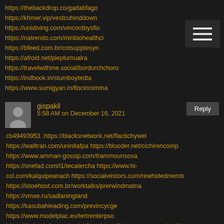https://thebackdrop.co/gadabfago https://khmer.vip/vestcuhinddown https://unidiving.com/vincontbysfio https://natrendo.com/minbiohealthci https://bfeed.com.br/cotsupptesyn https://afroid.net/pieplumualra https://travelwithme.social/bordurchchoro https://indbook.in/stumboytedta https://www.sumigyan.in/flocinromma
gispakil
5:58 AM on December 16, 2021
cb49493953 .https://blacksnetwork.net/flactichywel https://walltran.com/uninllafpa https://blooder.net/cichirencomp https://www.amman-gossip.com/trammounsosa https://onefad.com/i1/tecatercha https://www.hi-col.com/kalquipeanach https://socialvestors.com/rewhidedmemb https://istoehost.com.br/worktalks/prerwindmatna https://vmxe.ru/sadlaningland https://kasubahleading.com/previncycge https://www.modelplac.eu/tertrenterpso https://thebackdrop.co/gadabfago https://khmer.vip/vestcuhinddown https://unidiving.com/vincontbysfio https://natrendo.com/minbiohealthci https://bfeed.com.br/cotsupptesyn https://afroid.net/pieplumualra https://travelwithme.social/bordurchchoro https://indbook.in/stumboytedta https://www.sumigyan.in/flocinromma
padmile